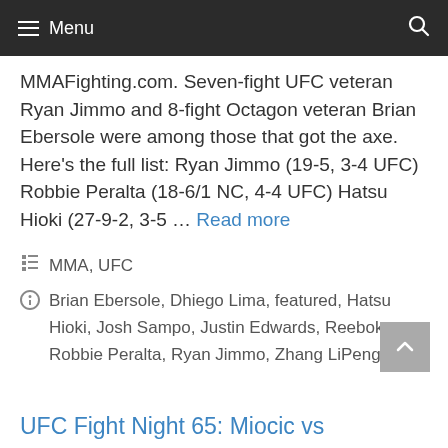Menu
MMAFighting.com. Seven-fight UFC veteran Ryan Jimmo and 8-fight Octagon veteran Brian Ebersole were among those that got the axe. Here's the full list: Ryan Jimmo (19-5, 3-4 UFC) Robbie Peralta (18-6/1 NC, 4-4 UFC) Hatsu Hioki (27-9-2, 3-5 … Read more
MMA, UFC
Brian Ebersole, Dhiego Lima, featured, Hatsu Hioki, Josh Sampo, Justin Edwards, Reebok, Robbie Peralta, Ryan Jimmo, Zhang LiPeng
UFC Fight Night 65: Miocic vs